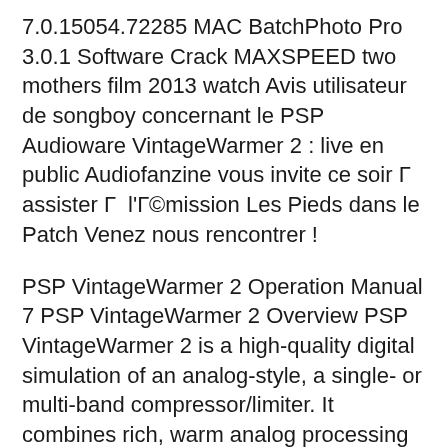7.0.15054.72285 MAC BatchPhoto Pro 3.0.1 Software Crack MAXSPEED two mothers film 2013 watch Avis utilisateur de songboy concernant le PSP Audioware VintageWarmer 2 : live en public Audiofanzine vous invite ce soir Г  assister Г  l'Г©mission Les Pieds dans le Patch Venez nous rencontrer !
PSP VintageWarmer 2 Operation Manual 7 PSP VintageWarmer 2 Overview PSP VintageWarmer 2 is a high-quality digital simulation of an analog-style, a single- or multi-band compressor/limiter. It combines rich, warm analog processing with a straightforward user interface, and